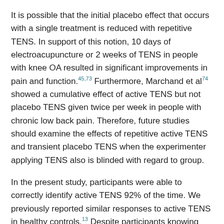It is possible that the initial placebo effect that occurs with a single treatment is reduced with repetitive TENS. In support of this notion, 10 days of electroacupuncture or 2 weeks of TENS in people with knee OA resulted in significant improvements in pain and function.45,73 Furthermore, Marchand et al74 showed a cumulative effect of active TENS but not placebo TENS given twice per week in people with chronic low back pain. Therefore, future studies should examine the effects of repetitive active TENS and transient placebo TENS when the experimenter applying TENS also is blinded with regard to group.
In the present study, participants were able to correctly identify active TENS 92% of the time. We previously reported similar responses to active TENS in healthy controls.13 Despite participants knowing that they received active TENS, there was no difference between active TENS and placebo TENS in subjective pain rating. Blinding of an electrical modality such as TENS has always been difficult, and few studies have reported blinding of active TENS.